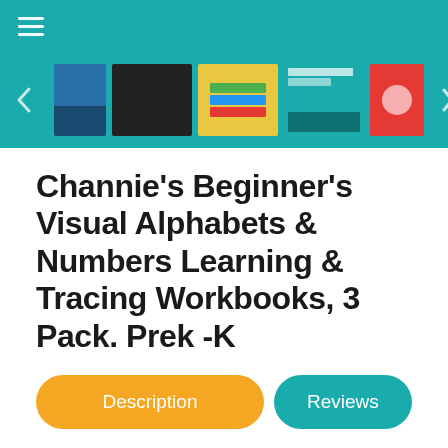≡
[Figure (screenshot): Horizontal scrollable strip of product thumbnail images against teal background]
Channie's Beginner's Visual Alphabets & Numbers Learning & Tracing Workbooks, 3 Pack. Prek -K
Description
Reviews
Lots of practices with visual